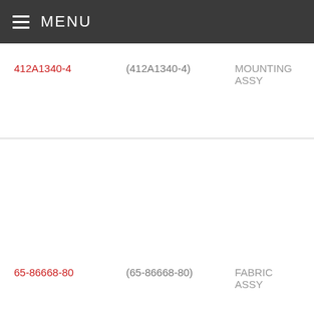MENU
| Part Number | Reference | Description |
| --- | --- | --- |
| 412A1340-4 | (412A1340-4) | MOUNTING ASSY |
| 65-86668-80 | (65-86668-80) | FABRIC ASSY |